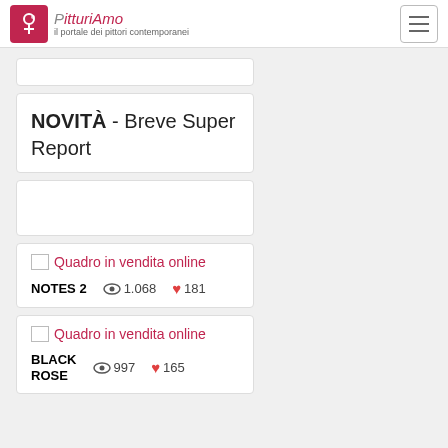PitturiAmo - il portale dei pittori contemporanei
NOVITÀ - Breve Super Report
Quadro in vendita online | NOTES 2 | views: 1.068 | likes: 181
Quadro in vendita online | BLACK ROSE | views: 997 | likes: 165